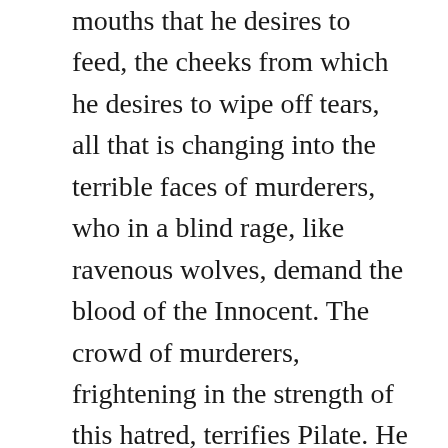mouths that he desires to feed, the cheeks from which he desires to wipe off tears, all that is changing into the terrible faces of murderers, who in a blind rage, like ravenous wolves, demand the blood of the Innocent. The crowd of murderers, frightening in the strength of this hatred, terrifies Pilate. He surrenders and hands over innocent blood. The entire Heaven falls on its face, because the verdict has been pronounced and God has been handed over to blasphemers, handed over at the mercy of sinners, so they may torture His poor body and destroy it by all means. O how holy and innocent is the One who has been sentenced, how millions of angels rejoice that He has accepted this suffering and fulfilled the Will of the Father. He will open Heaven to lost souls and bring them back to paradise, but how many more